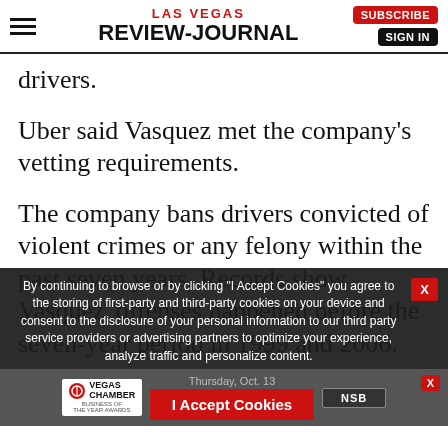LAS VEGAS REVIEW-JOURNAL
drivers.
Uber said Vasquez met the company's vetting requirements.
The company bans drivers convicted of violent crimes or any felony within the past seven years. Records show Vasquez' offenses happened before the seven-year period in 1999 and 2006.
The company's website lists its pre
By continuing to browse or by clicking "I Accept Cookies" you agree to the storing of first-party and third-party cookies on your device and consent to the disclosure of your personal information to our third party service providers or advertising partners to optimize your experience, analyze traffic and personalize content.
Thursday, Oct. 13
I Accept Cookies